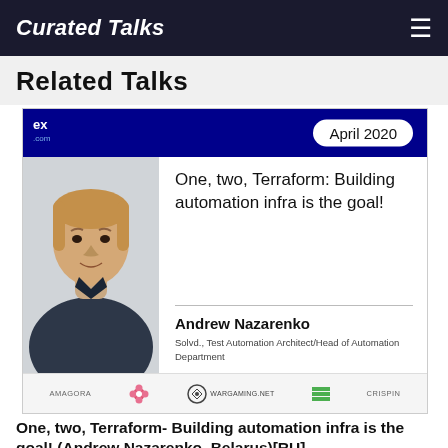Curated Talks
Related Talks
[Figure (screenshot): Conference talk card for 'One, two, Terraform: Building automation infra is the goal!' by Andrew Nazarenko, April 2020. Shows speaker photo, title, name, role (Solvd., Test Automation Architect/Head of Automation Department), and sponsor logos (wargaming.net, etc.).]
One, two, Terraform- Building automation infra is the goal! (Andrew Nazarenko, Belarus)[RU]